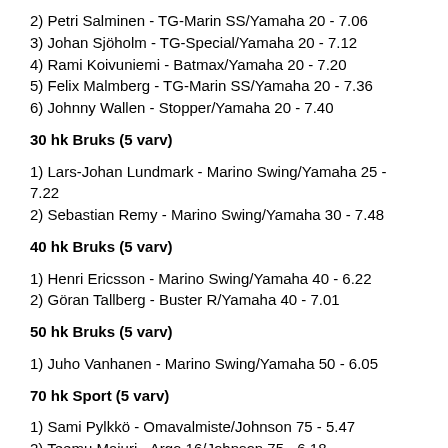2) Petri Salminen - TG-Marin SS/Yamaha 20 - 7.06
3) Johan Sjöholm - TG-Special/Yamaha 20 - 7.12
4) Rami Koivuniemi - Batmax/Yamaha 20 - 7.20
5) Felix Malmberg - TG-Marin SS/Yamaha 20 - 7.36
6) Johnny Wallen - Stopper/Yamaha 20 - 7.40
30 hk Bruks (5 varv)
1) Lars-Johan Lundmark - Marino Swing/Yamaha 25 - 7.22
2) Sebastian Remy - Marino Swing/Yamaha 30 - 7.48
40 hk Bruks (5 varv)
1) Henri Ericsson - Marino Swing/Yamaha 40 - 6.22
2) Göran Tallberg - Buster R/Yamaha 40 - 7.01
50 hk Bruks (5 varv)
1) Juho Vanhanen - Marino Swing/Yamaha 50 - 6.05
70 hk Sport (5 varv)
1) Sami Pylkkö - Omavalmiste/Johnson 75 - 5.47
2) Teemu Majuri - Argo 16/Johnson 75 - 6.18